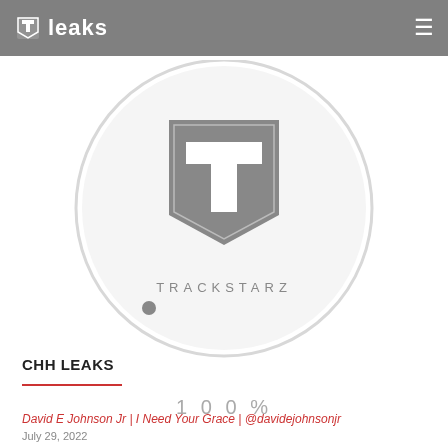leaks
[Figure (logo): Trackstarz logo — shield shape with letter T, and text TRACKSTARZ below, inside a circular vinyl/disc graphic with a small dot marker]
CHH LEAKS
100%
David E Johnson Jr | I Need Your Grace | @davidejohnsonjr
July 29, 2022